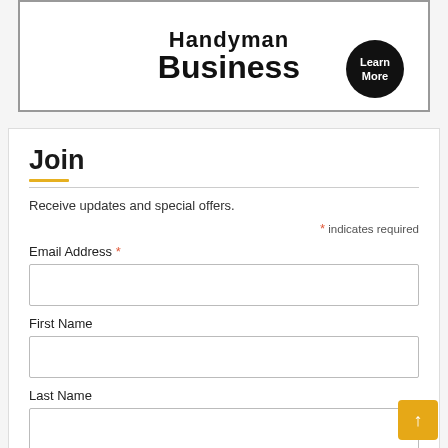[Figure (logo): Handyman Business banner with bold black text 'Handyman Business' and a black circle badge with 'Learn More' in white text on right side, inside a black border rectangle]
Join
Receive updates and special offers.
* indicates required
Email Address *
First Name
Last Name